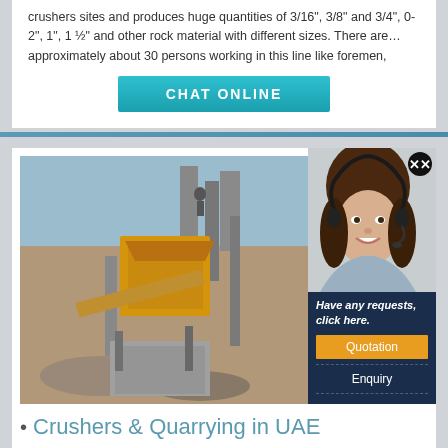crushers sites and produces huge quantities of 3/16", 3/8" and 3/4", 0-2", 1", 1 ½" and other rock material with different sizes. There are… approximately about 30 persons working in this line like foremen,
[Figure (screenshot): CHAT ONLINE button with teal/cyan gradient background]
[Figure (photo): Industrial stone crusher machinery with yellow/orange equipment at a quarry site]
[Figure (photo): Customer service representative woman wearing headset, smiling]
Have any requests, click here.
Quotation
Enquiry
limingjlmofen@sina.com
Crushers & Quarrying in UAE